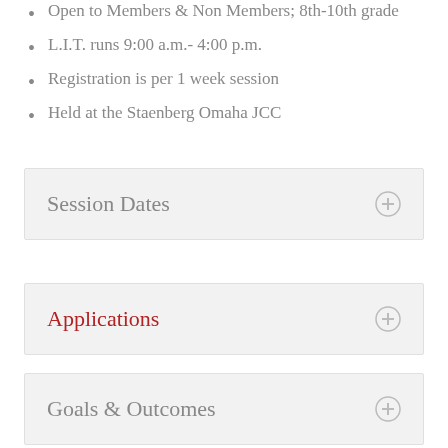Open to Members & Non Members; 8th-10th grade
L.I.T. runs  9:00 a.m.- 4:00 p.m.
Registration is per 1 week session
Held at the Staenberg Omaha JCC
Session Dates
Applications
Goals & Outcomes